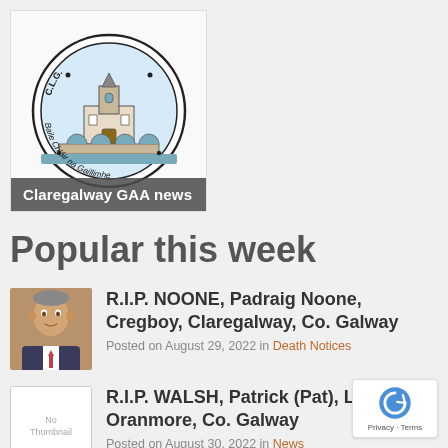[Figure (logo): Claregalway GAA CLG circular logo with church and bridge illustration, text 'Baile Chláir na Gaillimhe']
Claregalway GAA news
Popular this week
[Figure (photo): Headshot photo of an older man in a suit]
R.I.P. NOONE, Padraig Noone, Cregboy, Claregalway, Co. Galway
Posted on August 29, 2022 in Death Notices
[Figure (photo): No Thumbnail placeholder image]
R.I.P. WALSH, Patrick (Pat), Lydican, Oranmore, Co. Galway
Posted on August 30, 2022 in News